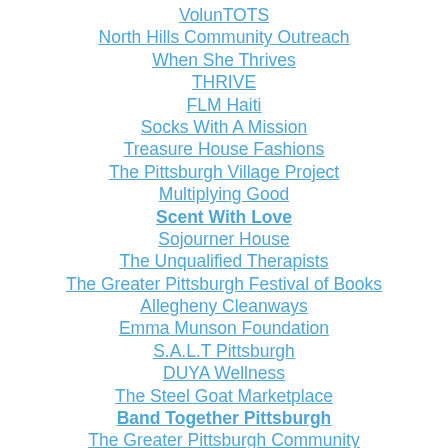VolunTOTS
North Hills Community Outreach
When She Thrives
THRIVE
FLM Haiti
Socks With A Mission
Treasure House Fashions
The Pittsburgh Village Project
Multiplying Good
Scent With Love
Sojourner House
The Unqualified Therapists
The Greater Pittsburgh Festival of Books
Allegheny Cleanways
Emma Munson Foundation
S.A.L.T Pittsburgh
DUYA Wellness
The Steel Goat Marketplace
Band Together Pittsburgh
The Greater Pittsburgh Community Foodbank
Beverly's Birthdays
Sauces One Athletics